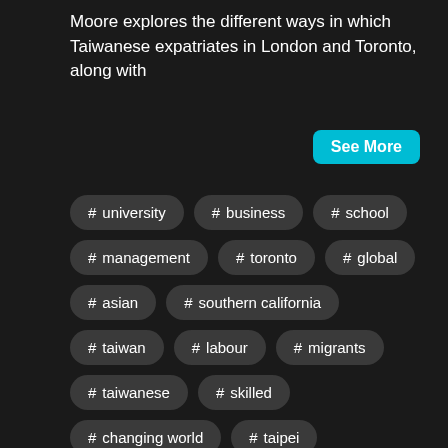Moore explores the different ways in which Taiwanese expatriates in London and Toronto, along with
See More
# university
# business
# school
# management
# toronto
# global
# asian
# southern california
# taiwan
# labour
# migrants
# taiwanese
# skilled
# changing world
# taipei
# teaching fellow
# toronto press